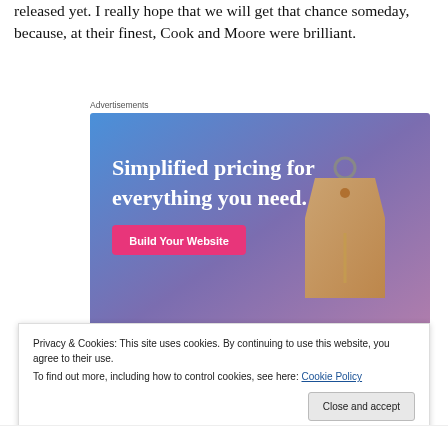released yet. I really hope that we will get that chance someday, because, at their finest, Cook and Moore were brilliant.
Advertisements
[Figure (illustration): Advertisement banner with gradient blue-purple background, white serif text reading 'Simplified pricing for everything you need.' with a pink 'Build Your Website' button and a price tag image on the right.]
Privacy & Cookies: This site uses cookies. By continuing to use this website, you agree to their use.
To find out more, including how to control cookies, see here: Cookie Policy
Close and accept